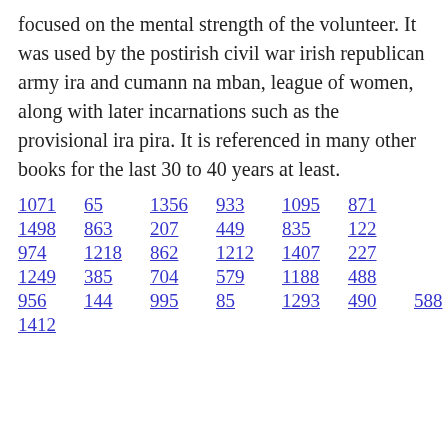focused on the mental strength of the volunteer. It was used by the postirish civil war irish republican army ira and cumann na mban, league of women, along with later incarnations such as the provisional ira pira. It is referenced in many other books for the last 30 to 40 years at least.
1071  65  1356  933  1095  871
1498  863  207  449  835  122
974  1218  862  1212  1407  227
1249  385  704  579  1188  488
956  144  995  85  1293  490  588
1412